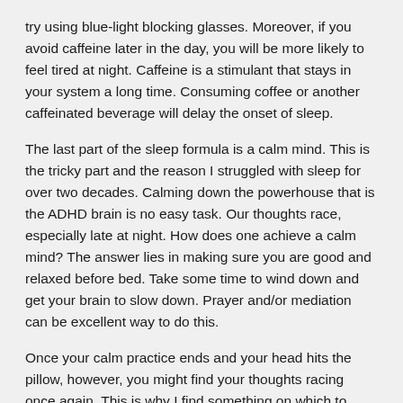try using blue-light blocking glasses. Moreover, if you avoid caffeine later in the day, you will be more likely to feel tired at night. Caffeine is a stimulant that stays in your system a long time. Consuming coffee or another caffeinated beverage will delay the onset of sleep.
The last part of the sleep formula is a calm mind. This is the tricky part and the reason I struggled with sleep for over two decades. Calming down the powerhouse that is the ADHD brain is no easy task. Our thoughts race, especially late at night. How does one achieve a calm mind? The answer lies in making sure you are good and relaxed before bed. Take some time to wind down and get your brain to slow down. Prayer and/or mediation can be excellent way to do this.
Once your calm practice ends and your head hits the pillow, however, you might find your thoughts racing once again. This is why I find something on which to place my thoughts that will capture my attention, but not so engaging that it excites me. For me, it is listening to a specific podcast. For you, it might mean something completely different.